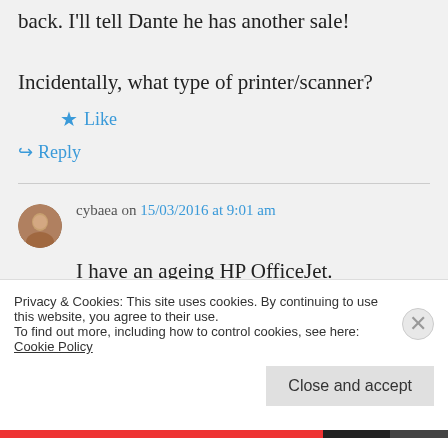back. I'll tell Dante he has another sale! Incidentally, what type of printer/scanner?
★ Like
↪ Reply
cybaea on 15/03/2016 at 9:01 am
I have an ageing HP OfficeJet. Does fax, scan, copy, and even
Privacy & Cookies: This site uses cookies. By continuing to use this website, you agree to their use.
To find out more, including how to control cookies, see here: Cookie Policy